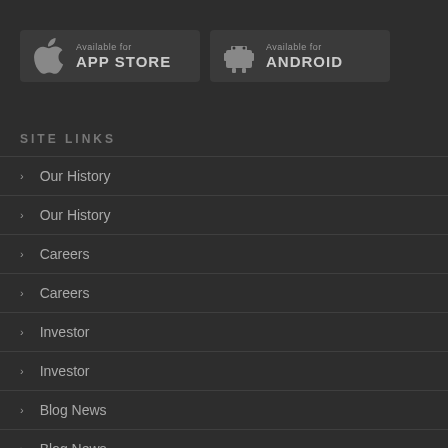[Figure (other): App Store download button with Apple logo icon, text 'Available for APP STORE']
[Figure (other): Android download button with Android robot icon, text 'Available for ANDROID']
SITE LINKS
Our History
Our History
Careers
Careers
Investor
Investor
Blog News
Blog News